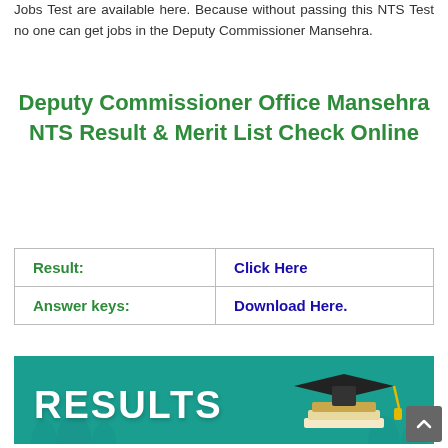Jobs Test are available here. Because without passing this NTS Test no one can get jobs in the Deputy Commissioner Mansehra.
Deputy Commissioner Office Mansehra NTS Result & Merit List Check Online
| Result: | Click Here |
| Answer keys: | Download Here. |
[Figure (illustration): Teal/green banner image with bold white text 'RESULTS' on the left and a graduation cap on top of stacked books on the right, with faint silhouettes of people in the background.]